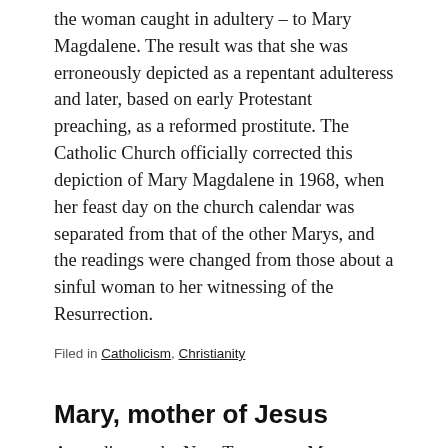the woman caught in adultery – to Mary Magdalene. The result was that she was erroneously depicted as a repentant adulteress and later, based on early Protestant preaching, as a reformed prostitute. The Catholic Church officially corrected this depiction of Mary Magdalene in 1968, when her feast day on the church calendar was separated from that of the other Marys, and the readings were changed from those about a sinful woman to her witnessing of the Resurrection.
Filed in Catholicism, Christianity
Mary, mother of Jesus
According to the New Testament, Mary was a virgin when she miraculously conceived Jesus through the Holy Spirit. She then married Joseph. Catholic and Orthodox Christians believe that she remained a perpetual virgin and that biblical references to brothers and sisters of Jesus...